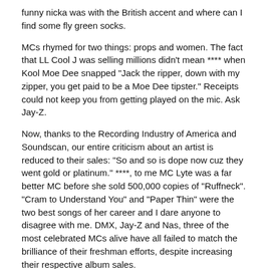funny nicka was with the British accent and where can I find some fly green socks.
MCs rhymed for two things: props and women. The fact that LL Cool J was selling millions didn't mean **** when Kool Moe Dee snapped "Jack the ripper, down with my zipper, you get paid to be a Moe Dee tipster." Receipts could not keep you from getting played on the mic. Ask Jay-Z.
Now, thanks to the Recording Industry of America and Soundscan, our entire criticism about an artist is reduced to their sales: "So and so is dope now cuz they went gold or platinum." ****, to me MC Lyte was a far better MC before she sold 500,000 copies of "Ruffneck". "Cram to Understand You" and "Paper Thin" were the two best songs of her career and I dare anyone to disagree with me. DMX, Jay-Z and Nas, three of the most celebrated MCs alive have all failed to match the brilliance of their freshman efforts, despite increasing their respective album sales.
Before this obsession with sales all we used to care about were the beats and the rhymes. A good artist could put out two or three albums before people started talking about falling off.